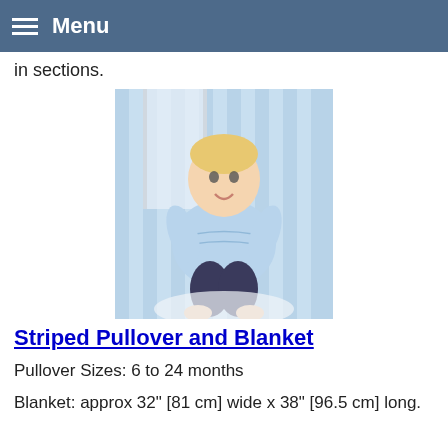Menu
in sections.
[Figure (photo): Baby sitting in a striped blue chair wearing a light blue striped pullover sweater, with bare feet, smiling at camera]
Striped Pullover and Blanket
Pullover Sizes: 6 to 24 months
Blanket: approx 32" [81 cm] wide x 38" [96.5 cm] long.